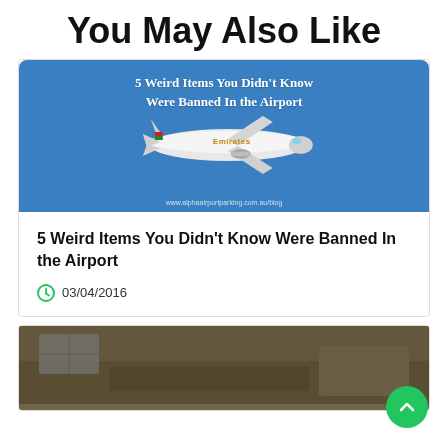You May Also Like
[Figure (illustration): Blog post thumbnail with blue background showing an Emirates airplane in flight and text '5 Weird Items You Didn't Know Were Banned In the Airport' with watermark www.alphaairportparking.com.au/blog]
5 Weird Items You Didn't Know Were Banned In the Airport
03/04/2016
[Figure (photo): Second blog post thumbnail showing an interior room/accommodation scene with golden text '5 Things You Should Know When Looking for Cheap Travel']